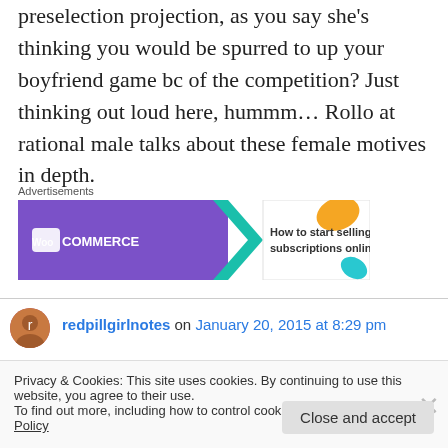preselection projection, as you say she's thinking you would be spurred to up your boyfriend game bc of the competition? Just thinking out loud here, hummm… Rollo at rational male talks about these female motives in depth.
Advertisements
[Figure (illustration): WooCommerce advertisement banner: 'How to start selling subscriptions online']
redpillgirlnotes on January 20, 2015 at 8:29 pm
Privacy & Cookies: This site uses cookies. By continuing to use this website, you agree to their use.
To find out more, including how to control cookies, see here: Cookie Policy